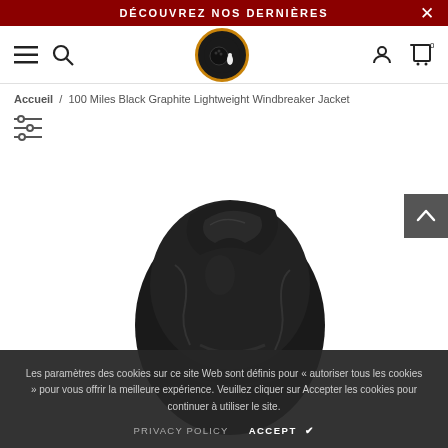DÉCOUVREZ NOS DERNIÈRES
[Figure (logo): Circular logo with bowling ball and pin illustration on dark background with orange border]
Accueil / 100 Miles Black Graphite Lightweight Windbreaker Jacket
[Figure (photo): Black graphite windbreaker jacket folded/bundled against white background]
Les paramètres des cookies sur ce site Web sont définis pour « autoriser tous les cookies » pour vous offrir la meilleure expérience. Veuillez cliquer sur Accepter les cookies pour continuer à utiliser le site.
PRIVACY POLICY   ACCEPT ✔